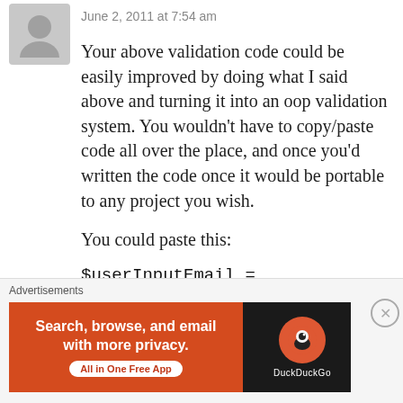June 2, 2011 at 7:54 am
Your above validation code could be easily improved by doing what I said above and turning it into an oop validation system. You wouldn't have to copy/paste code all over the place, and once you'd written the code once it would be portable to any project you wish.
You could paste this:
Advertisements
[Figure (screenshot): DuckDuckGo advertisement banner: orange left panel with text 'Search, browse, and email with more privacy. All in One Free App' and dark right panel with DuckDuckGo logo]